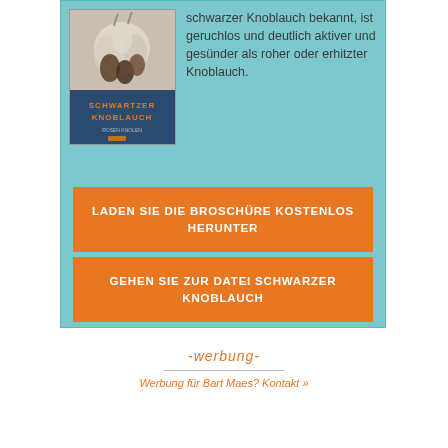schwarzer Knoblauch bekannt, ist geruchlos und deutlich aktiver und gesünder als roher oder erhitzter Knoblauch.
[Figure (photo): Book cover for 'Schwartzer Knoblauch' showing garlic photo on top and blue cover with orange title text below]
LADEN SIE DIE BROSCHÜRE KOSTENLOS HERUNTER
GEHEN SIE ZUR DATEI SCHWARZER KNOBLAUCH
-werbung-
Werbung für Bart Maes? Kontakt »